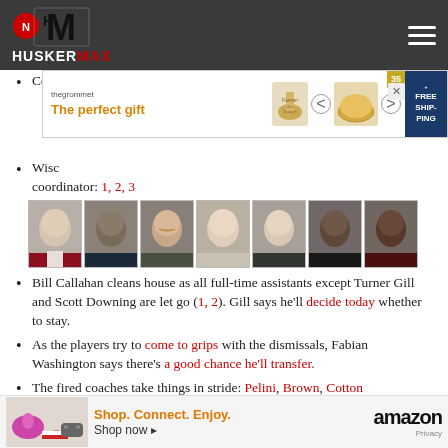HUSKERMAX
Com...
Wisc... coordinator: 1, 2, 3
[Figure (photo): Seven coaches headshot photos in a row]
Bill Callahan cleans house as all full-time assistants except Turner Gill and Scott Downing are let go (1, 2). Gill says he'll decide today whether to stay.
As the players try to come to grips with the dismissals, Fabian Washington says there's a good chance he'll transfer.
The fired coaches take things in stride: Pelini, Brown, Cotton
Some boosters express disappointment that more of the staff wasn't kept.
The... Ped...